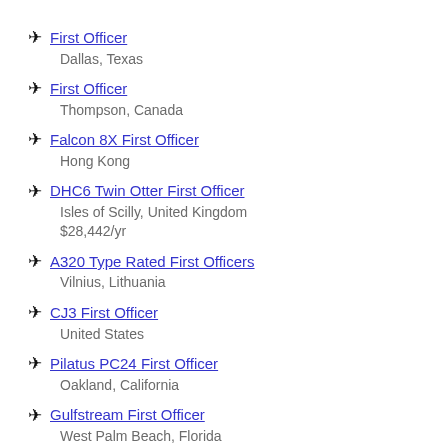First Officer
Dallas, Texas
First Officer
Thompson, Canada
Falcon 8X First Officer
Hong Kong
DHC6 Twin Otter First Officer
Isles of Scilly, United Kingdom
$28,442/yr
A320 Type Rated First Officers
Vilnius, Lithuania
CJ3 First Officer
United States
Pilatus PC24 First Officer
Oakland, California
Gulfstream First Officer
West Palm Beach, Florida